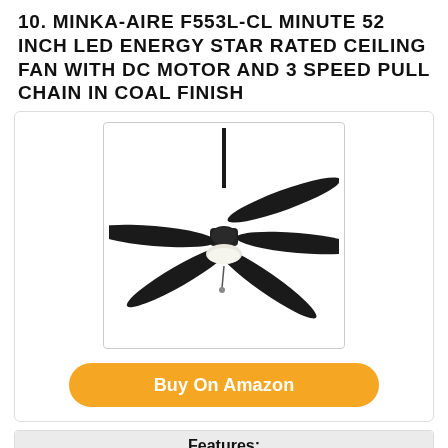10. MINKA-AIRE F553L-CL MINUTE 52 INCH LED ENERGY STAR RATED CEILING FAN WITH DC MOTOR AND 3 SPEED PULL CHAIN IN COAL FINISH
[Figure (photo): Product photo of Minka-Aire F553L-CL Minute ceiling fan in coal/black finish with 5 blades and a light kit, shown from below on a white background with a downrod extending upward.]
Buy On Amazon
Features:
DESIGN: Minka-Aire's Minute Contractor Ceiling
BULB: The Minute ceiling fan includes an
INCLUDED: 6" Downrod